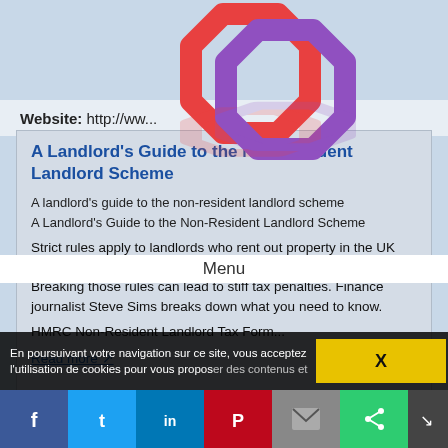Website: http://ww...
[Figure (logo): Two interlocking octagon rings logo, red and purple, with reflection below]
Menu
A Landlord's Guide to the Non-Resident Landlord Scheme
A landlord's guide to the non-resident landlord scheme
A Landlord's Guide to the Non-Resident Landlord Scheme
Strict rules apply to landlords who rent out property in the UK but spend more than six months of the tax year living overseas. Breaking those rules can lead to stiff tax penalties. Finance journalist Steve Sims breaks down what you need to know.
HMRC Non-Resident Landlord Tax Form...
Read more
Website: https://www.directlineforbusiness.co.uk
En poursuivant votre navigation sur ce site, vous acceptez l'utilisation de cookies pour vous proposer des contenus et...